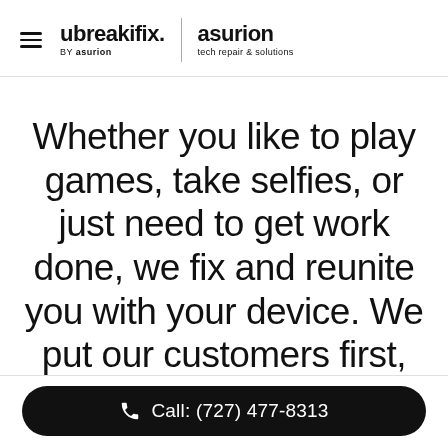ubreakifix. by asurion | asurion tech repair & solutions
Whether you like to play games, take selfies, or just need to get work done, we fix and reunite you with your device. We put our customers first, always.
Call: (727) 477-8313